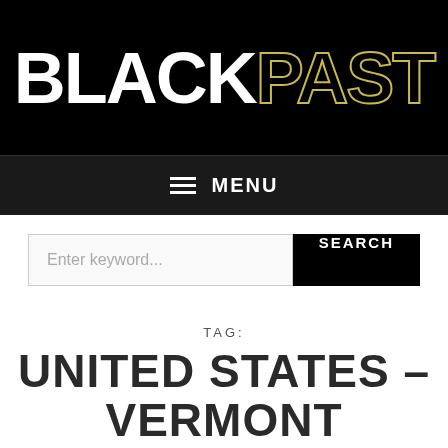BLACKPAST
≡ MENU
Enter keyword... SEARCH
TAG:
UNITED STATES – VERMONT
[Figure (photo): Historical portrait photograph of a person, partially visible at bottom of page, sepia/aged tone background]